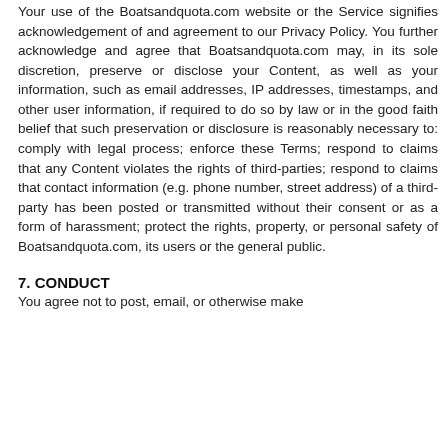Your use of the Boatsandquota.com website or the Service signifies acknowledgement of and agreement to our Privacy Policy. You further acknowledge and agree that Boatsandquota.com may, in its sole discretion, preserve or disclose your Content, as well as your information, such as email addresses, IP addresses, timestamps, and other user information, if required to do so by law or in the good faith belief that such preservation or disclosure is reasonably necessary to: comply with legal process; enforce these Terms; respond to claims that any Content violates the rights of third-parties; respond to claims that contact information (e.g. phone number, street address) of a third-party has been posted or transmitted without their consent or as a form of harassment; protect the rights, property, or personal safety of Boatsandquota.com, its users or the general public.
7. CONDUCT
You agree not to post, email, or otherwise make